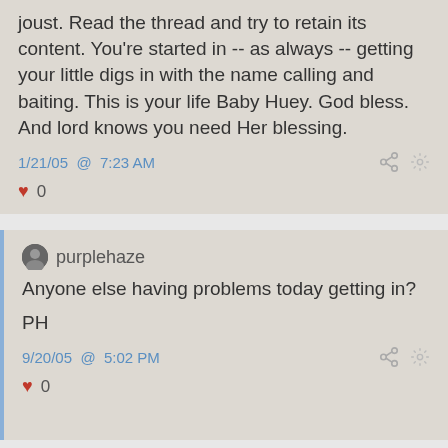joust. Read the thread and try to retain its content. You're started in -- as always -- getting your little digs in with the name calling and baiting. This is your life Baby Huey. God bless. And lord knows you need Her blessing.
1/21/05 @ 7:23 AM
0
purplehaze
Anyone else having problems today getting in?

PH
9/20/05 @ 5:02 PM
0